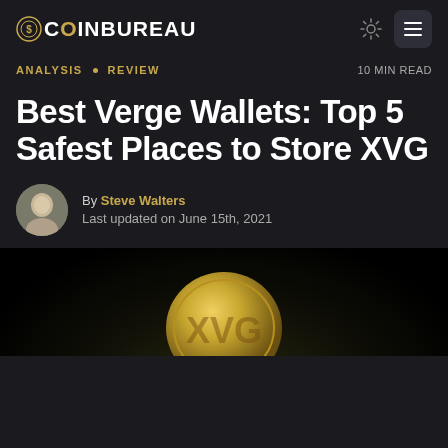COINBUREAU
ANALYSIS • REVIEW  |  10 MIN READ
Best Verge Wallets: Top 5 Safest Places to Store XVG
By Steve Walters
Last updated on June 15th, 2021
[Figure (photo): Verge (XVG) gold coin partially visible at bottom of dark hero image]